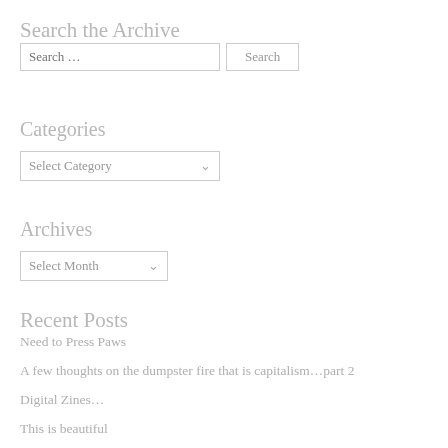Search the Archive
Search … [input box] Search [button]
Categories
Select Category [dropdown]
Archives
Select Month [dropdown]
Recent Posts
Need to Press Paws
A few thoughts on the dumpster fire that is capitalism…part 2
Digital Zines…
This is beautiful
Silent Noise Project #011 — the even Jesus is drinking straight from the bottle now episode
Why I don't donate to Wikipedia (and other things)
The Forest of Spam, Part 5